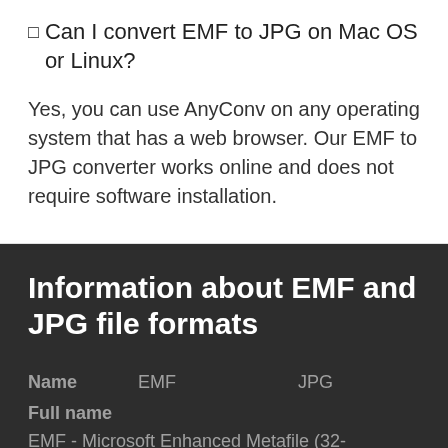□ Can I convert EMF to JPG on Mac OS or Linux?
Yes, you can use AnyConv on any operating system that has a web browser. Our EMF to JPG converter works online and does not require software installation.
Information about EMF and JPG file formats
| Name | EMF | JPG |
| --- | --- | --- |
| Full name |  |  |
| EMF - Microsoft Enhanced Metafile (32- |  |  |